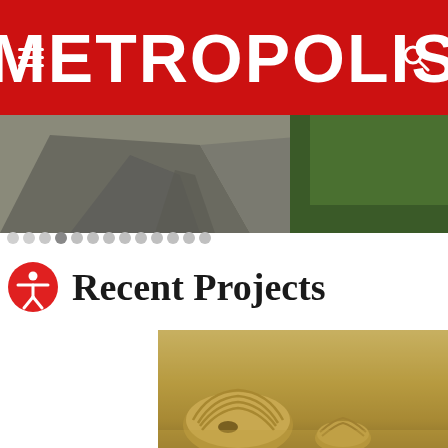METROPOLIS
[Figure (photo): A road scene with green vegetation on the right side, outdoor landscape photo used as a hero/slider image]
[Figure (other): Carousel navigation dots, approximately 13 dots with one active]
Recent Projects
[Figure (photo): An architectural render of a desert/arid landscape structure with rounded, segmented pod-like forms in tan/gold tones]